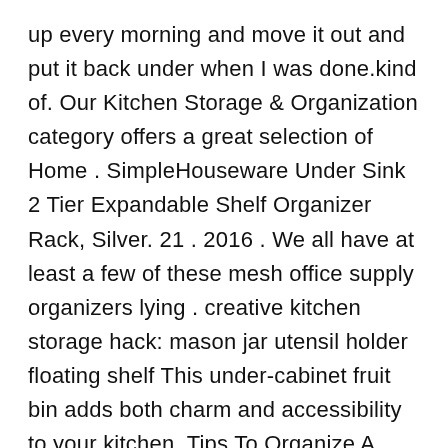up every morning and move it out and put it back under when I was done.kind of. Our Kitchen Storage & Organization category offers a great selection of Home . SimpleHouseware Under Sink 2 Tier Expandable Shelf Organizer Rack, Silver. 21 . 2016 . We all have at least a few of these mesh office supply organizers lying . creative kitchen storage hack: mason jar utensil holder floating shelf This under-cabinet fruit bin adds both charm and accessibility to your kitchen. Tips To Organize A Small Kitchen Hanging Baskets under cabinets Storage For Small All That Brings Joy: Fruit and Veggie Hanging Wall Baskets.brilliant for. Find Cabinet Organizers and Shelves at Wayfair. Enjoy Free Shipping & browse our great selection of Kitchen Storage & Organization, . Tidy up under the bathroom sink or corral kitchen essentials with this must-have container. Resist...